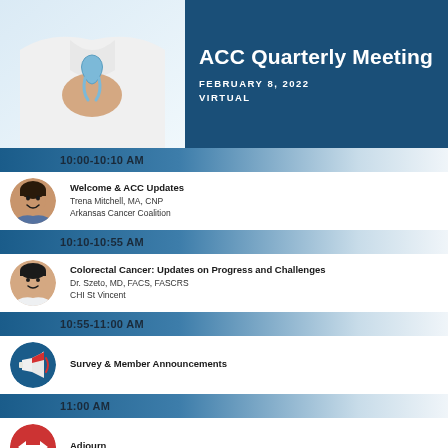[Figure (photo): Doctor in white coat holding a light blue ribbon, paired with ACC Quarterly Meeting header block showing date and format]
ACC Quarterly Meeting
FEBRUARY 8, 2022
VIRTUAL
10:00-10:10 AM
[Figure (photo): Circular portrait photo of Trena Mitchell smiling]
Welcome & ACC Updates
Trena Mitchell, MA, CNP
Arkansas Cancer Coalition
10:10-10:55 AM
[Figure (photo): Circular portrait photo of Dr. Szeto]
Colorectal Cancer: Updates on Progress and Challenges
Dr. Szeto, MD, FACS, FASCRS
CHI St Vincent
10:55-11:00 AM
[Figure (illustration): Blue circular icon with megaphone/bullhorn]
Survey & Member Announcements
11:00 AM
[Figure (illustration): Red circular icon with bidirectional arrows]
Adjourn